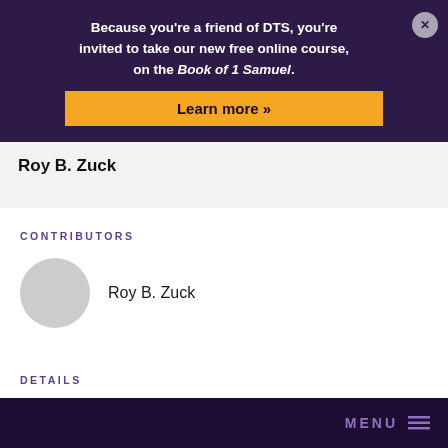Because you're a friend of DTS, you're invited to take our new free online course, on the Book of 1 Samuel.
Learn more »
Roy B. Zuck
CONTRIBUTORS
Roy B. Zuck
DETAILS
MENU